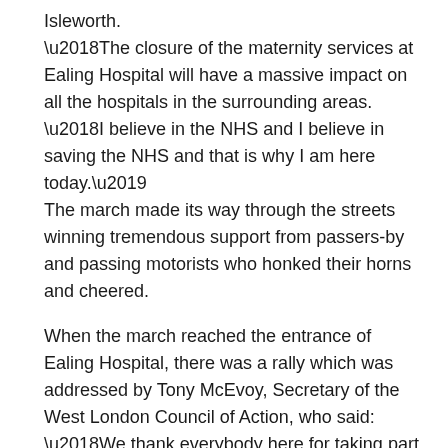Isleworth.
‘The closure of the maternity services at Ealing Hospital will have a massive impact on all the hospitals in the surrounding areas.
‘I believe in the NHS and I believe in saving the NHS and that is why I am here today.’
The march made its way through the streets winning tremendous support from passers-by and passing motorists who honked their horns and cheered.

When the march reached the entrance of Ealing Hospital, there was a rally which was addressed by Tony McEvoy, Secretary of the West London Council of Action, who said:
‘We thank everybody here for taking part in the march and in the occupation of the Maternity Unit to stop its closure.

‘This is no protest action. We know that if maternity goes,